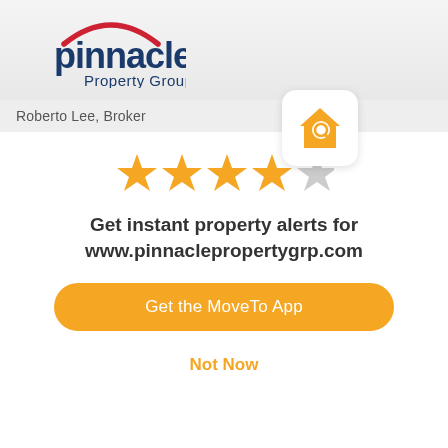[Figure (logo): Pinnacle Property Group logo with red arc over dark blue text]
Roberto Lee, Broker
[Figure (logo): Orange house icon with magnifying glass inside, on white rounded-rectangle background]
[Figure (infographic): 4 filled orange stars and 1 empty grey star rating]
Get instant property alerts for www.pinnaclepropertygrp.com
Get the MoveTo App
Not Now